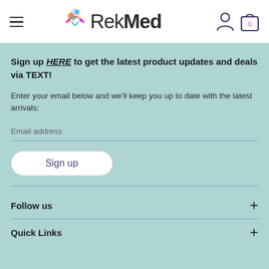[Figure (logo): RekMed logo with colorful figure and bold text]
Sign up HERE to get the latest product updates and deals via TEXT!
Enter your email below and we'll keep you up to date with the latest arrivals:
Email address
Sign up
Follow us
Quick Links